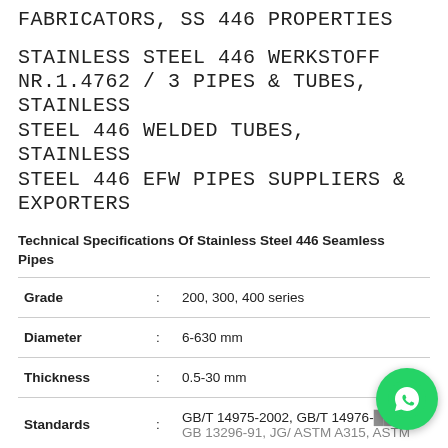FABRICATORS, SS 446 PROPERTIES
STAINLESS STEEL 446 WERKSTOFF NR.1.4762 / 3 PIPES & TUBES, STAINLESS STEEL 446 WELDED TUBES, STAINLESS STEEL 446 EFW PIPES SUPPLIERS & EXPORTERS
Technical Specifications Of Stainless Steel 446 Seamless Pipes
| Grade | : | 200, 300, 400 series |
| --- | --- | --- |
| Grade | : | 200, 300, 400 series |
| Diameter | : | 6-630 mm |
| Thickness | : | 0.5-30 mm |
| Standards | : | GB/T 14975-2002, GB/T 14976-2002, GB 13296-91, JG/ ASTM A312, ASTM ... |